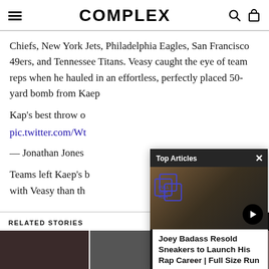COMPLEX
Chiefs, New York Jets, Philadelphia Eagles, San Francisco 49ers, and Tennessee Titans. Veasy caught the eye of team reps when he hauled in an effortless, perfectly placed 50-yard bomb from Kaep
Kap's best throw of
pic.twitter.com/Wt
— Jonathan Jones
Teams left Kaep's b... with Veasy than th...
[Figure (screenshot): Video overlay panel with 'Top Articles' label showing a Full Size Run episode thumbnail featuring Joey Badass, with article title 'Joey Badass Resold Sneakers to Launch His Rap Career | Full Size Run']
RELATED STORIES